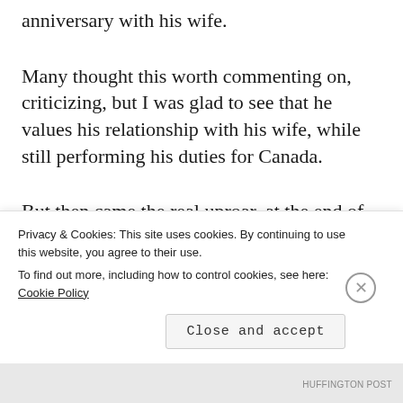anniversary with his wife.
Many thought this worth commenting on, criticizing, but I was glad to see that he values his relationship with his wife, while still performing his duties for Canada.
But then came the real uproar, at the end of the week, when President Obama visited the site of the bombings, on Japan, at the close of
Privacy & Cookies: This site uses cookies. By continuing to use this website, you agree to their use.
To find out more, including how to control cookies, see here: Cookie Policy
HUFFINGTON POST